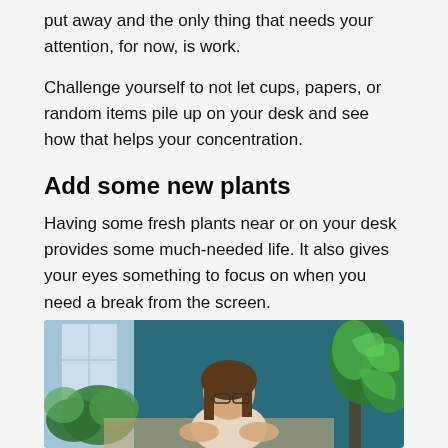put away and the only thing that needs your attention, for now, is work.
Challenge yourself to not let cups, papers, or random items pile up on your desk and see how that helps your concentration.
Add some new plants
Having some fresh plants near or on your desk provides some much-needed life. It also gives your eyes something to focus on when you need a break from the screen.
[Figure (photo): A woman with glasses and long brown hair working at a desk surrounded by green plants, with a teal wall in the background and natural light from a window.]